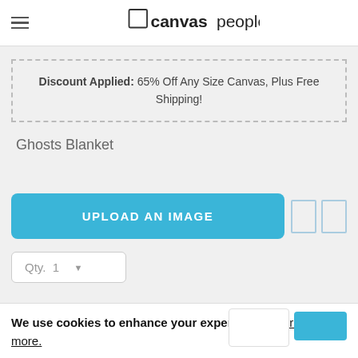canvaspeople
Discount Applied: 65% Off Any Size Canvas, Plus Free Shipping!
Ghosts Blanket
UPLOAD AN IMAGE
Qty. 1
We use cookies to enhance your experience. Learn more.